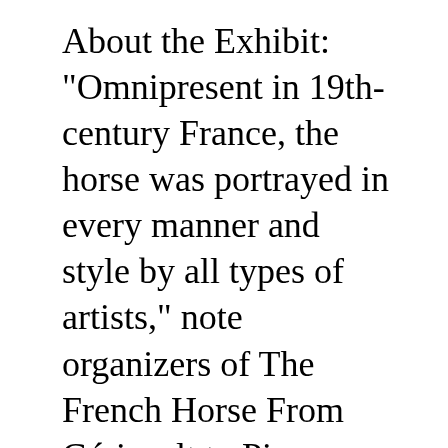About the Exhibit: "Omnipresent in 19th-century France, the horse was portrayed in every manner and style by all types of artists," note organizers of The French Horse From Géricault to Picasso: Works from the Virginia Museum of Fine Arts. The exhibition was organized by the Virginia Museum of Fine Arts (VMFA) from its collections including the Collection of Mr. and Mrs. Paul Mellon. More than 40 major paintings, sculptures, and works on paper by artists as varied as Pablo Picasso, Antoine- Louis Barye, Edgar Degas, and Théodore